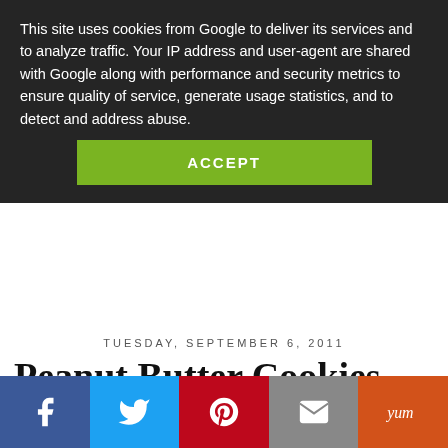This site uses cookies from Google to deliver its services and to analyze traffic. Your IP address and user-agent are shared with Google along with performance and security metrics to ensure quality of service, generate usage statistics, and to detect and address abuse.
ACCEPT
[Figure (logo): Blog logo with stylized cursive text and heart icon]
TUESDAY, SEPTEMBER 6, 2011
Peanut Butter Cookies
AFFILIATE NOTICE
[Figure (infographic): Social share bar with Facebook, Twitter, Pinterest, Email, and Yum buttons]